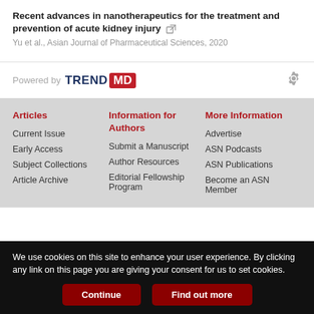Recent advances in nanotherapeutics for the treatment and prevention of acute kidney injury
Yu et al., Asian Journal of Pharmaceutical Sciences, 2020
[Figure (logo): Powered by TRENDMD logo with gear icon]
Articles
Current Issue
Early Access
Subject Collections
Article Archive
Information for Authors
Submit a Manuscript
Author Resources
Editorial Fellowship Program
More Information
Advertise
ASN Podcasts
ASN Publications
Become an ASN Member
We use cookies on this site to enhance your user experience. By clicking any link on this page you are giving your consent for us to set cookies.